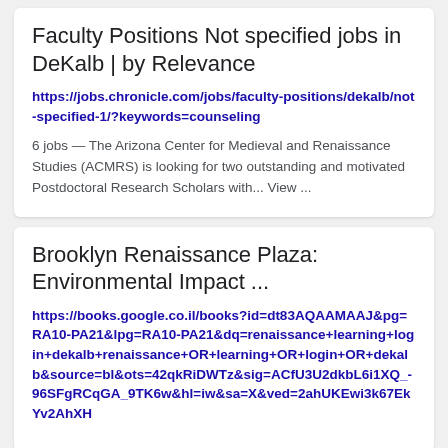Faculty Positions Not specified jobs in DeKalb | by Relevance
https://jobs.chronicle.com/jobs/faculty-positions/dekalb/not-specified-1/?keywords=counseling
6 jobs — The Arizona Center for Medieval and Renaissance Studies (ACMRS) is looking for two outstanding and motivated Postdoctoral Research Scholars with... View ...
Brooklyn Renaissance Plaza: Environmental Impact ...
https://books.google.co.il/books?id=dt83AQAAMAAJ&pg=RA10-PA21&lpg=RA10-PA21&dq=renaissance+learning+login+dekalb+renaissance+OR+learning+OR+login+OR+dekalb&source=bl&ots=42qkRiDWTz&sig=ACfU3U2dkbL6i1XQ_-96SFgRCqGA_9TK6w&hl=iw&sa=X&ved=2ahUKEwi3k67EkYv2AhXH